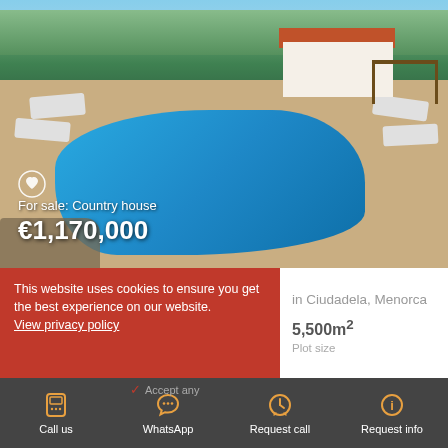[Figure (photo): Aerial/ground view of a country house with a large free-form swimming pool surrounded by sun loungers, palm trees in background, pergola on right side, white house with red roof visible.]
For sale: Country house
€1,170,000
This website uses cookies to ensure you get the best experience on our website. View privacy policy
in Ciudadela, Menorca
5,500m²
Plot size
Call us
WhatsApp
Request call
Request info